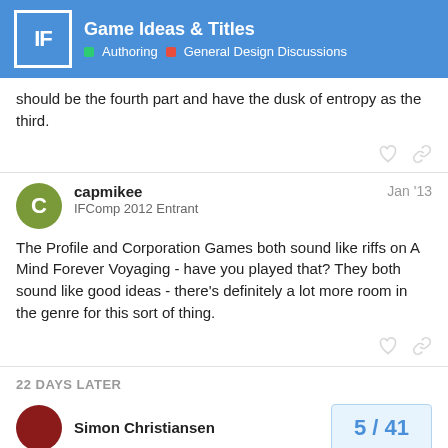Game Ideas & Titles — Authoring | General Design Discussions
should be the fourth part and have the dusk of entropy as the third.
capmikee  Jan '13
IFComp 2012 Entrant
The Profile and Corporation Games both sound like riffs on A Mind Forever Voyaging - have you played that? They both sound like good ideas - there's definitely a lot more room in the genre for this sort of thing.
22 DAYS LATER
Simon Christiansen
5 / 41